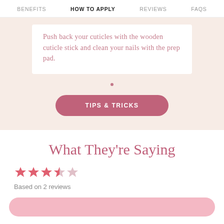BENEFITS  HOW TO APPLY  REVIEWS  FAQS
Push back your cuticles with the wooden cuticle stick and clean your nails with the prep pad.
[Figure (other): Carousel dot indicator showing one active dot]
TIPS & TRICKS
What They're Saying
[Figure (other): 3.5 out of 5 stars rating]
Based on 2 reviews